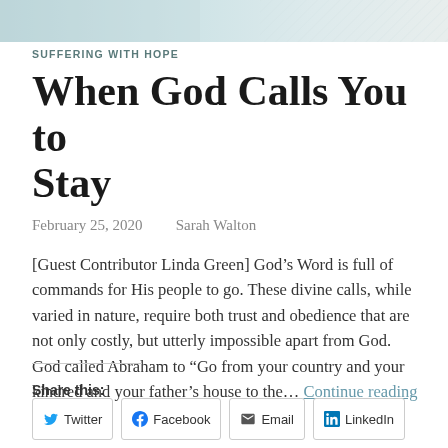[Figure (photo): Decorative header image with light blue and grey tones, abstract background]
SUFFERING WITH HOPE
When God Calls You to Stay
February 25, 2020    Sarah Walton
[Guest Contributor Linda Green] God’s Word is full of commands for His people to go. These divine calls, while varied in nature, require both trust and obedience that are not only costly, but utterly impossible apart from God. God called Abraham to “Go from your country and your kindred and your father’s house to the… Continue reading
Share this:
Twitter
Facebook
Email
LinkedIn